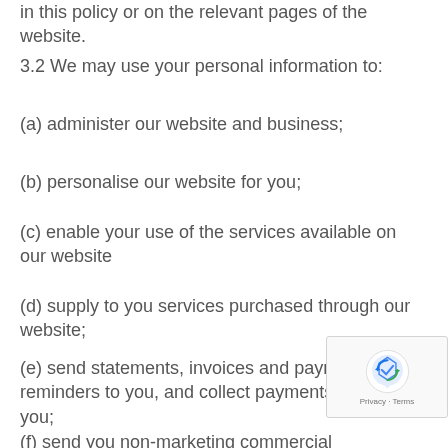in this policy or on the relevant pages of the website.
3.2 We may use your personal information to:
(a) administer our website and business;
(b) personalise our website for you;
(c) enable your use of the services available on our website
(d) supply to you services purchased through our website;
(e) send statements, invoices and payment reminders to you, and collect payments from you;
(f) send you non-marketing commercial